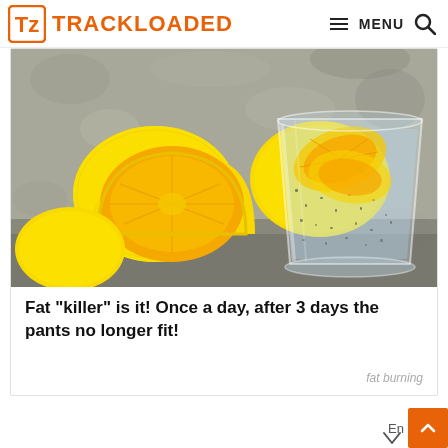TRACKLOADED  MENU
[Figure (photo): Photo of lemons (halved and whole) beside a glass of water with lemon slices and chia seeds, on a grey stone surface]
Fat "killer" is it! Once a day, after 3 days the pants no longer fit!
fat burning